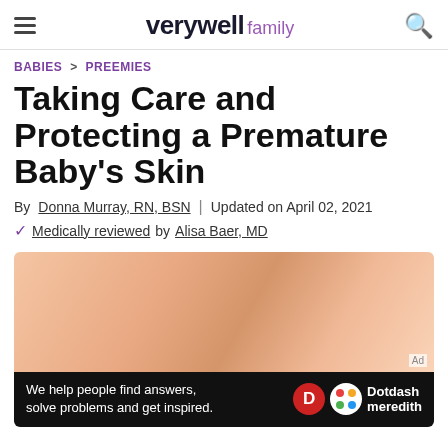verywell family
BABIES > PREEMIES
Taking Care and Protecting a Premature Baby's Skin
By Donna Murray, RN, BSN | Updated on April 02, 2021
Medically reviewed by Alisa Baer, MD
[Figure (photo): Close-up photo of premature baby skin, warm peach/orange tones]
We help people find answers, solve problems and get inspired. Dotdash meredith